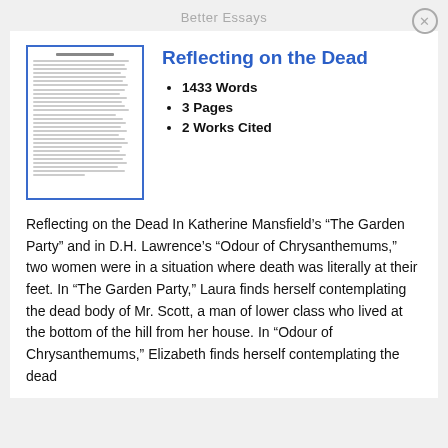Better Essays
[Figure (illustration): Thumbnail preview of essay document pages with blue border]
Reflecting on the Dead
1433 Words
3 Pages
2 Works Cited
Reflecting on the Dead In Katherine Mansfield’s “The Garden Party” and in D.H. Lawrence’s “Odour of Chrysanthemums,” two women were in a situation where death was literally at their feet. In “The Garden Party,” Laura finds herself contemplating the dead body of Mr. Scott, a man of lower class who lived at the bottom of the hill from her house. In “Odour of Chrysanthemums,” Elizabeth finds herself contemplating the dead